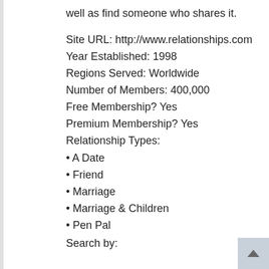well as find someone who shares it.
Site URL: http://www.relationships.com
Year Established: 1998
Regions Served: Worldwide
Number of Members: 400,000
Free Membership? Yes
Premium Membership? Yes
Relationship Types:
• A Date
• Friend
• Marriage
• Marriage & Children
• Pen Pal
Search by: